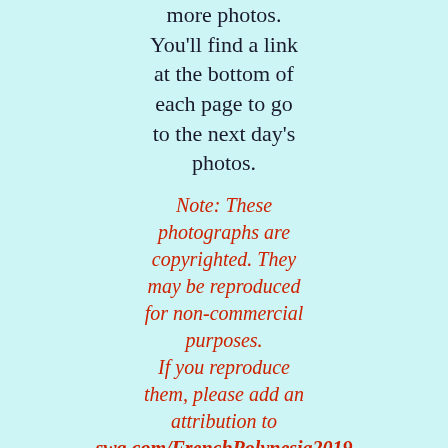more photos. You'll find a link at the bottom of each page to go to the next day's photos.
Note: These photographs are copyrighted. They may be reproduced for non-commercial purposes. If you reproduce them, please add an attribution to swq.com/FrenchPolynesia2019 and let me know (wwq@swq.com).
Day 0 (November 19) Long flight from home to Papeete via Chicago and San Francisco. As expected, long lines at